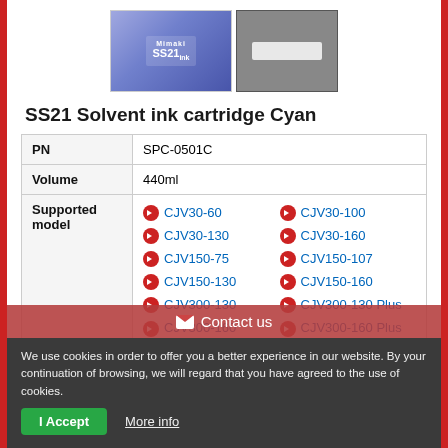[Figure (photo): Two product images: a blue SS21 ink cartridge box and a white ink cartridge component on black background]
SS21 Solvent ink cartridge Cyan
| Field | Value |
| --- | --- |
| PN | SPC-0501C |
| Volume | 440ml |
| Supported model | CJV30-60, CJV30-100, CJV30-130, CJV30-160, CJV150-75, CJV150-107, CJV150-130, CJV150-160, CJV300-130, CJV300-130 Plus, CJV300-160, CJV300-160 Plus, JV5-130S, JV5-160S, JV5-200S, JV33-130, JV33-160, JV33-260 |
Contact us
We use cookies in order to offer you a better experience in our website. By your continuation of browsing, we will regard that you have agreed to the use of cookies.